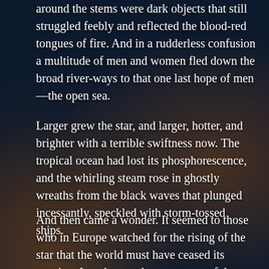around the stems were dark objects that still struggled feebly and reflected the blood-red tongues of fire. And in a rudderless confusion a multitude of men and women fled down the broad river-ways to that one last hope of men—the open sea.
Larger grew the star, and larger, hotter, and brighter with a terrible swiftness now. The tropical ocean had lost its phosphorescence, and the whirling steam rose in ghostly wreaths from the black waves that plunged incessantly, speckled with storm-tossed ships.
And then came a wonder. It seemed to those who in Europe watched for the rising of the star that the world must have ceased its rotation. In a thousand open spaces of down and upland the people who had fled thither from the floods and the falling houses